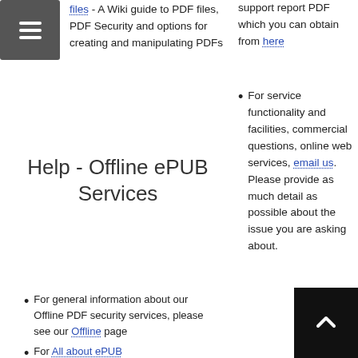[Figure (other): Menu/hamburger button icon (dark grey square with three white horizontal lines)]
files - A Wiki guide to PDF files, PDF Security and options for creating and manipulating PDFs
Help - Offline ePUB Services
For general information about our Offline PDF security services, please see our Offline page
For All about ePUB
support report PDF which you can obtain from here
For service functionality and facilities, commercial questions, online web services, email us. Please provide as much detail as possible about the issue you are asking about.
[Figure (other): Back to top button (black square with white upward chevron arrow)]